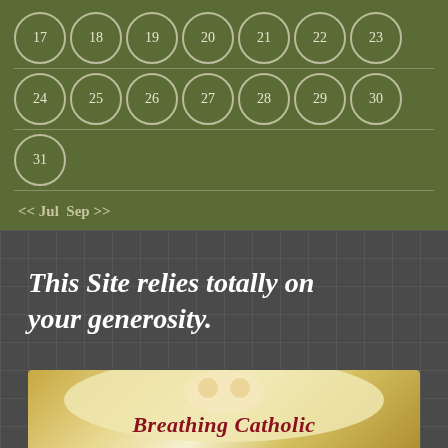[Figure (other): Calendar widget showing days 17-31, with circular bordered day numbers on an olive-green background. Navigation shows << Jul and Sep >> links.]
<< Jul  Sep >>
This Site relies totally on your generosity.
[Figure (illustration): Book cover image for 'Breathing Catholic' with angelic figures on a warm gold/cream circular background, with the title in red cursive script.]